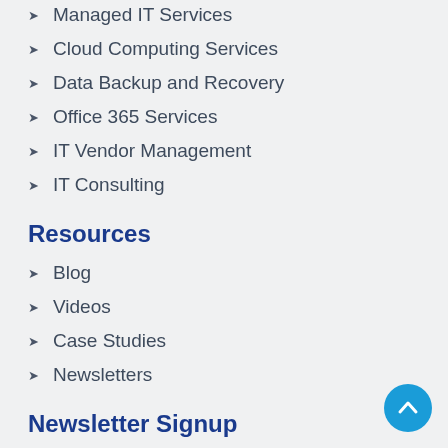Managed IT Services
Cloud Computing Services
Data Backup and Recovery
Office 365 Services
IT Vendor Management
IT Consulting
Resources
Blog
Videos
Case Studies
Newsletters
Newsletter Signup
First Name *